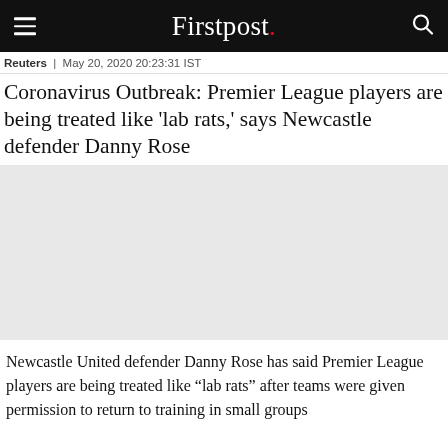Firstpost.
Reuters | May 20, 2020 20:23:31 IST
Coronavirus Outbreak: Premier League players are being treated like 'lab rats,' says Newcastle defender Danny Rose
[Figure (photo): Photo placeholder for article image related to Newcastle defender Danny Rose and Premier League coronavirus training.]
Newcastle United defender Danny Rose has said Premier League players are being treated like “lab rats” after teams were given permission to return to training in small groups